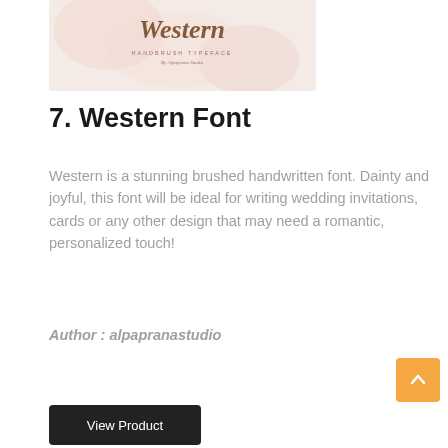[Figure (illustration): Western font product preview image showing handbrush typeface with script lettering on a light pink/white background with text 'HANDBRUSH TYPEFACE By Alpaprana Studio']
7. Western Font
Western is a stunning brushed handwritten font. Dainty and joyful, this font will be ideal for writing wedding invitations, cards or any other design that may need a romantic, personalized touch!
Author : alpapranastudio
View Product